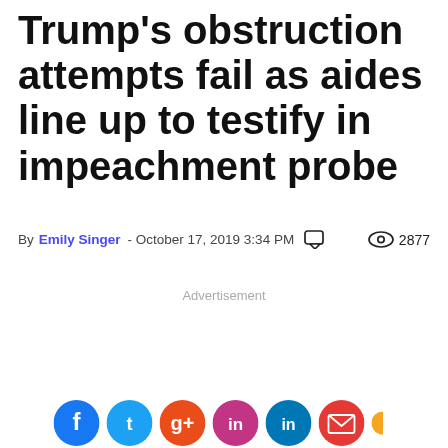Trump's obstruction attempts fail as aides line up to testify in impeachment probe
By Emily Singer - October 17, 2019 3:34 PM  [comment icon] [eye icon] 2877
Advertisement
[Figure (illustration): Social media share buttons row: Facebook (blue), Twitter (light blue), Google/circle (orange-red), Instagram (purple-red gradient), LinkedIn (dark blue), Email (red), and partial seventh icon, all circular at bottom of page]